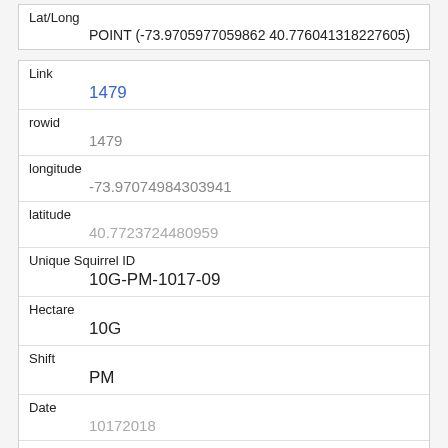| Lat/Long | POINT (-73.9705977059862 40.776041318227605) |
| Link | 1479 |
| rowid | 1479 |
| longitude | -73.97074984303941 |
| latitude | 40.7723724480959 |
| Unique Squirrel ID | 10G-PM-1017-09 |
| Hectare | 10G |
| Shift | PM |
| Date | 10172018 |
| Hectare Squirrel Number |  |